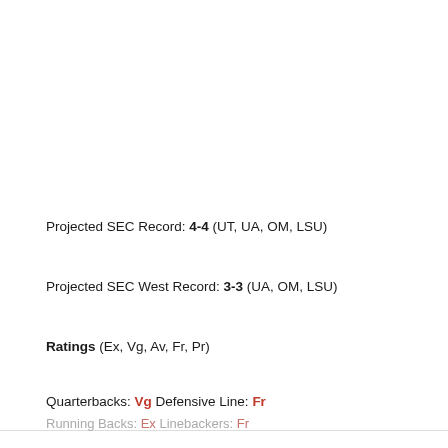Projected SEC Record: 4-4 (UT, UA, OM, LSU)
Projected SEC West Record: 3-3 (UA, OM, LSU)
Ratings (Ex, Vg, Av, Fr, Pr)
Quarterbacks: Vg Defensive Line: Fr
Running Backs: Ex Linebackers: Fr